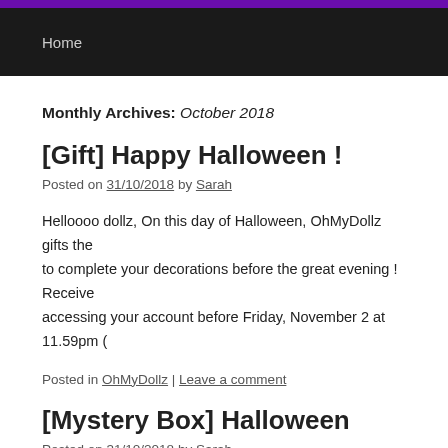Home
Monthly Archives: October 2018
[Gift] Happy Halloween !
Posted on 31/10/2018 by Sarah
Helloooo dollz, On this day of Halloween, OhMyDollz gifts the... to complete your decorations before the great evening ! Receive... accessing your account before Friday, November 2 at 11.59pm (
Posted in OhMyDollz | Leave a comment
[Mystery Box] Halloween
Posted on 31/10/2018 by Sarah
Hello dollz, As the night draws near, the spirits are about to eme... the world of the living… Will you give them the reception they